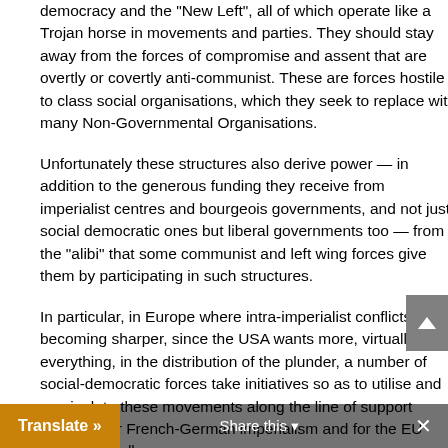democracy and the "New Left", all of which operate like a Trojan horse in movements and parties. They should stay away from the forces of compromise and assent that are overtly or covertly anti-communist. These are forces hostile to class social organisations, which they seek to replace with many Non-Governmental Organisations.
Unfortunately these structures also derive power — in addition to the generous funding they receive from imperialist centres and bourgeois governments, and not just social democratic ones but liberal governments too — from the "alibi" that some communist and left wing forces give them by participating in such structures.
In particular, in Europe where intra-imperialist conflicts are becoming sharper, since the USA wants more, virtually everything, in the distribution of the plunder, a number of social-democratic forces take initiatives so as to utilise and manipulate these movements along the line of support basically for French-German imperialism and for the EU more generally.
We believe that it is necessary to step up political and ideological confrontation in order to address the disorientation of movements and the assimilation of political forces and into a neo-liberal manageme... but without an anti-monopoly direction. In this way, the